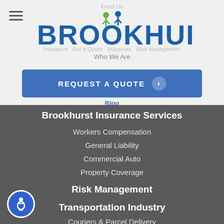Email Us
[Figure (logo): Brookhurst Insurance Services logo with stylized human figures icon above the letter H]
Who We Are
REQUEST A QUOTE ›
Blog
818.465.7860
Insurance Offered
Brookhurst Insurance Services
Workers Compensation
General Liability
Commercial Auto
Property Coverage
Risk Management
Transportation Industry
Couriers & Parcel Delivery
Trucking & Logistics